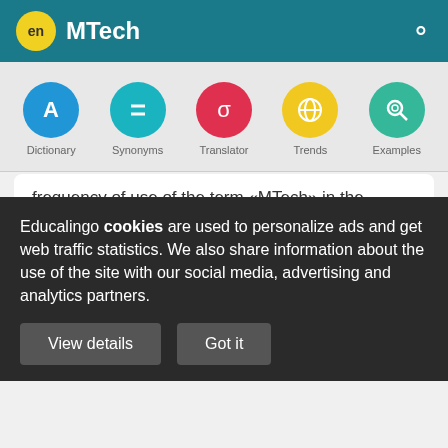en MTech
[Figure (screenshot): Navigation icons row: Dictionary (blue circle with A), Synonyms (teal circle with equals), Translator (red circle with sigma), Trends (yellow circle with globe), Examples (green circle with magnifier)]
frequency of use of the term «MTech» in the different countries.
Principal search tendencies and common uses of MTech
Educalingo cookies are used to personalize ads and get web traffic statistics. We also share information about the use of the site with our social media, advertising and analytics partners.